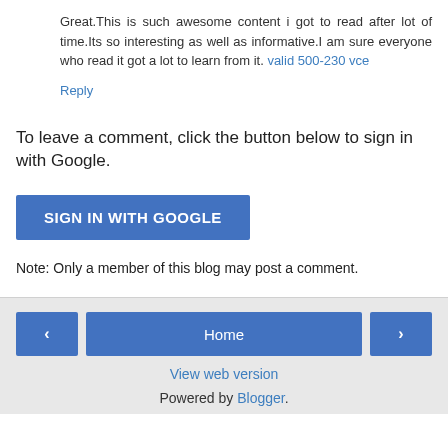Great.This is such awesome content i got to read after lot of time.Its so interesting as well as informative.I am sure everyone who read it got a lot to learn from it. valid 500-230 vce
Reply
To leave a comment, click the button below to sign in with Google.
[Figure (other): SIGN IN WITH GOOGLE button (blue rectangle with white uppercase text)]
Note: Only a member of this blog may post a comment.
[Figure (other): Navigation bar with left arrow button, Home button, and right arrow button]
View web version
Powered by Blogger.